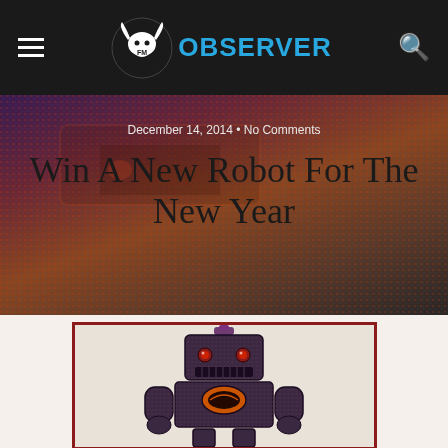FM Observer
December 14, 2014 • No Comments
Win A New Robot For The New Year
[Figure (photo): A vintage-style decorative tin robot toy with colorful mosaic/psychedelic pattern overlay, red eyes, orange chest emblem, standing upright against a light background. Red border frame around image.]